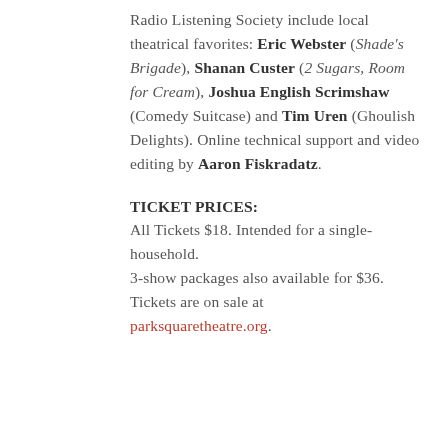Radio Listening Society include local theatrical favorites: Eric Webster (Shade's Brigade), Shanan Custer (2 Sugars, Room for Cream), Joshua English Scrimshaw (Comedy Suitcase) and Tim Uren (Ghoulish Delights). Online technical support and video editing by Aaron Fiskradatz.
TICKET PRICES:
All Tickets $18. Intended for a single-household.
3-show packages also available for $36.
Tickets are on sale at parksquaretheatre.org.